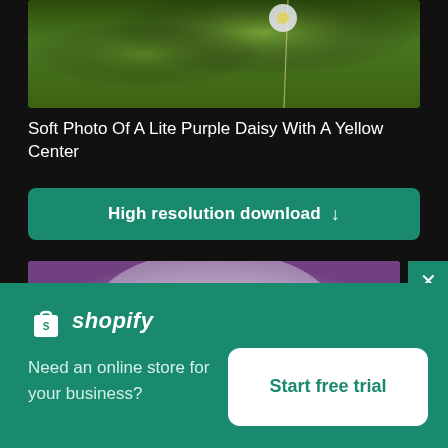[Figure (photo): Soft blurred photo of a daisy flower with green and yellow tones, top portion visible]
Soft Photo Of A Lite Purple Daisy With A Yellow Center
High resolution download ↓
[Figure (photo): Close-up blurred photo of a purple daisy with yellow-green center petals]
[Figure (logo): Shopify logo with shopping bag icon and italic text]
Need an online store for your business?
Start free trial